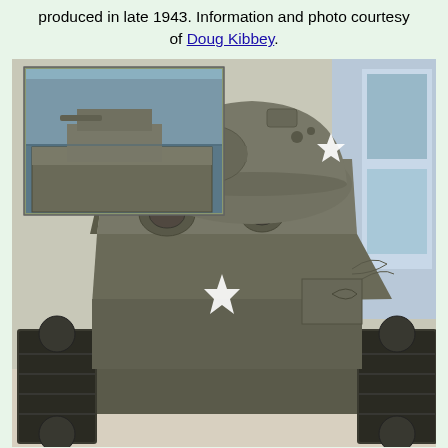produced in late 1943. Information and photo courtesy of Doug Kibbey.
[Figure (photo): Large photograph of an M4 Sherman tank displayed in a museum or indoor facility, shown from the front-left angle. The tank is olive drab/grey-green in color with white stars on the hull and turret. The tank has wide tracks, a cast hull front with driver hatches, and a rounded turret. In the upper-left corner is a smaller inset color photograph showing a Sherman tank on what appears to be a landing craft or barge on water.]